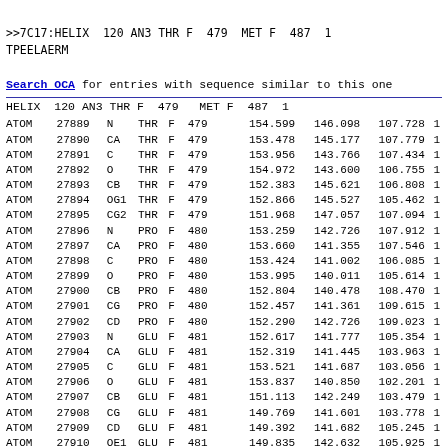>>7C17:HELIX  120 AN3 THR F  479  MET F  487  1
TPEELAERM
Search OCA for entries with sequence similar to this one
HELIX  120 AN3 THR F  479   MET F  487  1
| ATOM | serial | name | resName | chain | seq | x | y | z |
| --- | --- | --- | --- | --- | --- | --- | --- | --- |
| ATOM | 27889 | N | THR | F | 479 | 154.599 | 146.098 | 107.728 |
| ATOM | 27890 | CA | THR | F | 479 | 153.478 | 145.177 | 107.779 |
| ATOM | 27891 | C | THR | F | 479 | 153.956 | 143.766 | 107.434 |
| ATOM | 27892 | O | THR | F | 479 | 154.972 | 143.600 | 106.755 |
| ATOM | 27893 | CB | THR | F | 479 | 152.383 | 145.621 | 106.808 |
| ATOM | 27894 | OG1 | THR | F | 479 | 152.866 | 145.527 | 105.462 |
| ATOM | 27895 | CG2 | THR | F | 479 | 151.968 | 147.057 | 107.094 |
| ATOM | 27896 | N | PRO | F | 480 | 153.259 | 142.726 | 107.912 |
| ATOM | 27897 | CA | PRO | F | 480 | 153.660 | 141.355 | 107.546 |
| ATOM | 27898 | C | PRO | F | 480 | 153.424 | 141.002 | 106.085 |
| ATOM | 27899 | O | PRO | F | 480 | 153.995 | 140.011 | 105.614 |
| ATOM | 27900 | CB | PRO | F | 480 | 152.804 | 140.478 | 108.470 |
| ATOM | 27901 | CG | PRO | F | 480 | 152.457 | 141.361 | 109.615 |
| ATOM | 27902 | CD | PRO | F | 480 | 152.290 | 142.726 | 109.023 |
| ATOM | 27903 | N | GLU | F | 481 | 152.617 | 141.777 | 105.354 |
| ATOM | 27904 | CA | GLU | F | 481 | 152.319 | 141.445 | 103.963 |
| ATOM | 27905 | C | GLU | F | 481 | 153.521 | 141.687 | 103.056 |
| ATOM | 27906 | O | GLU | F | 481 | 153.837 | 140.850 | 102.201 |
| ATOM | 27907 | CB | GLU | F | 481 | 151.113 | 142.249 | 103.479 |
| ATOM | 27908 | CG | GLU | F | 481 | 149.769 | 141.601 | 103.778 |
| ATOM | 27909 | CD | GLU | F | 481 | 149.392 | 141.682 | 105.245 |
| ATOM | 27910 | OE1 | GLU | F | 481 | 149.835 | 142.632 | 105.925 |
| ATOM | 27911 | OE2 | GLU | F | 481 | 148.656 | 140.792 | 105.721 |
| ATOM | 27912 | N | GLU | F | 482 | 154.200 | 142.821 | 103.221 |